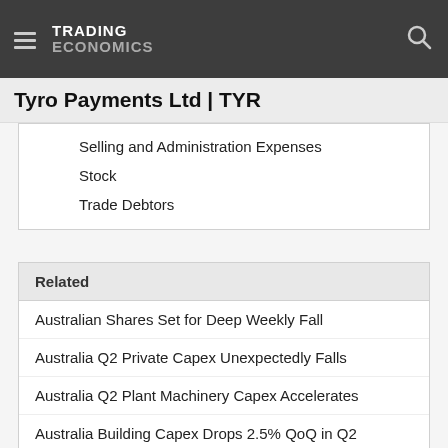TRADING ECONOMICS
Tyro Payments Ltd | TYR
Selling and Administration Expenses
Stock
Trade Debtors
Related
Australian Shares Set for Deep Weekly Fall
Australia Q2 Private Capex Unexpectedly Falls
Australia Q2 Plant Machinery Capex Accelerates
Australia Building Capex Drops 2.5% QoQ in Q2
Australia Manufacturing PMI Hits 12-Month Low